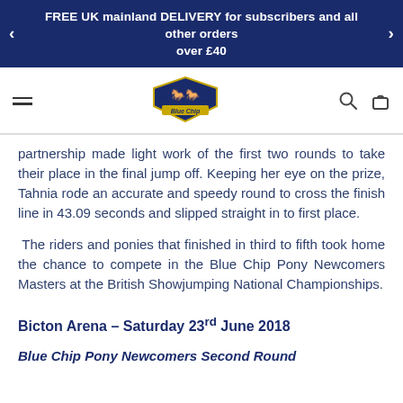FREE UK mainland DELIVERY for subscribers and all other orders over £40
[Figure (logo): Blue Chip equestrian brand logo — shield shape with horses and yellow ribbon banner reading 'Blue Chip']
partnership made light work of the first two rounds to take their place in the final jump off. Keeping her eye on the prize, Tahnia rode an accurate and speedy round to cross the finish line in 43.09 seconds and slipped straight in to first place.
The riders and ponies that finished in third to fifth took home the chance to compete in the Blue Chip Pony Newcomers Masters at the British Showjumping National Championships.
Bicton Arena – Saturday 23rd June 2018
Blue Chip Pony Newcomers Second Round